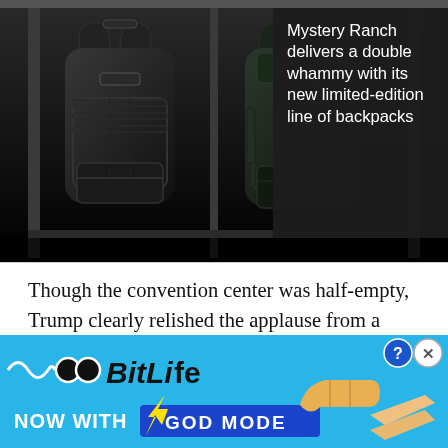[Figure (photo): Dark photo showing two tactical backpacks hanging on a shelf/rack against a dark background. The image is in black and white / very dark tones.]
Mystery Ranch delivers a double whammy with its new limited-edition line of backpacks
Though the convention center was half-empty, Trump clearly relished the applause from a friendly crowd estimated at about 4,000 veterans and spouses. And though it was ostensibly a nonpolitical event, right from the start he began hitting many of the applause lines familiar from his campaign speeches.
[Figure (screenshot): BitLife mobile game advertisement banner. Blue background with BitLife logo, text 'NOW WITH GOD MODE', cartoon thumb and pointing hand graphics, close/question buttons.]